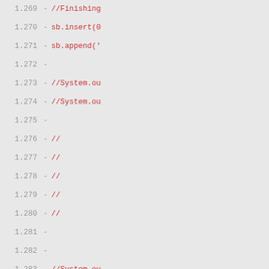Code diff view showing lines 1.269–1.300 with line numbers, dashes, and code content including comments (//Finishing, //System.ou, //XXX Proba, etc.), sb.insert, sb.append, System.out, try {